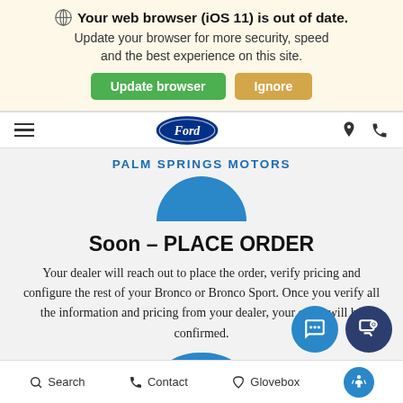Your web browser (iOS 11) is out of date. Update your browser for more security, speed and the best experience on this site.
[Figure (screenshot): Browser update banner with green 'Update browser' button and tan 'Ignore' button]
[Figure (logo): Ford oval logo in navy blue with script Ford wordmark, navigation bar with hamburger menu, location pin icon, and phone icon]
PALM SPRINGS MOTORS
Soon – PLACE ORDER
Your dealer will reach out to place the order, verify pricing and configure the rest of your Bronco or Bronco Sport. Once you verify all the information and pricing from your dealer, your order will be confirmed.
Search   Contact   Glovebox